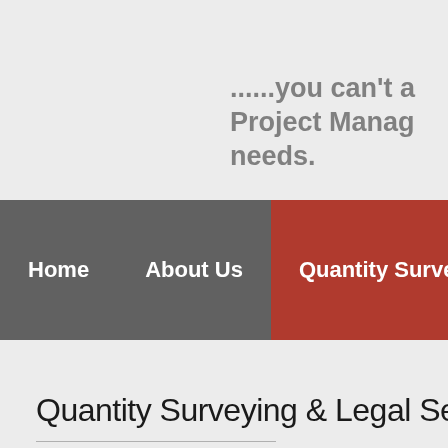......you can't a Project Manag needs.
Home | About Us | Quantity Surveying | P
Quantity Surveying & Legal Services
We believe excellence in Quant awareness. Feroqs Consult focus